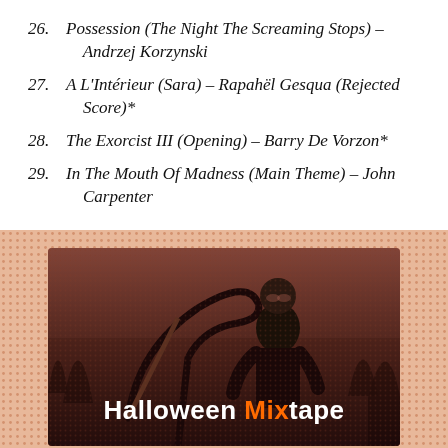26. Possession (The Night The Screaming Stops) – Andrzej Korzynski
27. A L'Intérieur (Sara) – Rapahël Gesqua (Rejected Score)*
28. The Exorcist III (Opening) – Barry De Vorzon*
29. In The Mouth Of Madness (Main Theme) – John Carpenter
[Figure (photo): Halloween Mixtape promotional image with halftone orange/salmon background, showing a person in dark clothing holding a scythe, with trees in background. Text overlay reads 'Halloween Mixtape' with 'Mix' in orange.]